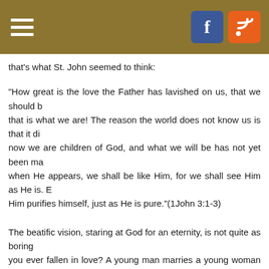Navigation header with hamburger menu, Facebook icon, and RSS icon
that's what St. John seemed to think:
“How great is the love the Father has lavished on us, that we should be called children of God! And that is what we are! The reason the world does not know us is that it did not know him. Dear friends, now we are children of God, and what we will be has not yet been made known. But we know that when He appears, we shall be like Him, for we shall see Him as He is. Everyone who has this hope in Him purifies himself, just as He is pure.”(1John 3:1-3)
The beatific vision, staring at God for an eternity, is not quite as boring as it sounds. Have you ever fallen in love? A young man marries a young woman and she wakes up in the middle of the night to find him staring at her in the moonlight. It’s kind of creepy. She asks, “What are you doing?” and he says, “Oh nothing. I was just looking at you. You’re so beautiful.” Parents sneak into the nursery late at night and just watch a newborn child asleep. There is nothing quite as wonderful as the simple joy of seeing someone you love. Heaven is to see God face to face and forever. If you have ever fallen in love, You’ve experienced a pale shadow, a foretaste of heaven. To be perfectly in love forever with someone who is really worthy of all our love and worship. That is heaven. We will see Him as He is, and He will see us as we are.
The thief on the cross asked Jesus if He would remember him when He